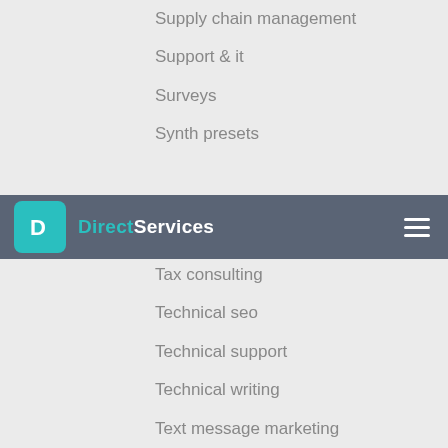Supply chain management
Support & it
Surveys
Synth presets
[Figure (screenshot): Navigation bar with DirectServices logo and hamburger menu icon]
Tattoo design
Tax consulting
Technical seo
Technical support
Technical writing
Text message marketing
Theory
Thumbnails design
Tracking & reporting
Transcription
Translation
Traveling
Trip plans